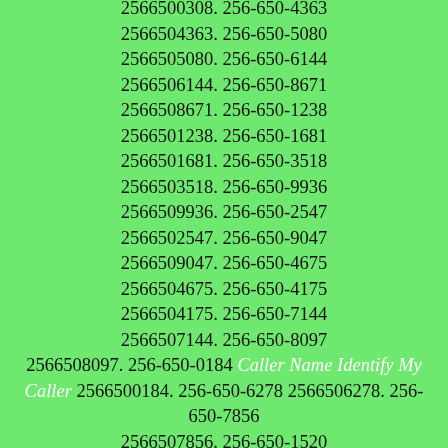2566500308. 256-650-4363 2566504363. 256-650-5080 2566505080. 256-650-6144 2566506144. 256-650-8671 2566508671. 256-650-1238 2566501238. 256-650-1681 2566501681. 256-650-3518 2566503518. 256-650-9936 2566509936. 256-650-2547 2566502547. 256-650-9047 2566509047. 256-650-4675 2566504675. 256-650-4175 2566504175. 256-650-7144 2566507144. 256-650-8097 2566508097. 256-650-0184 Caller Name Identify My Caller 2566500184. 256-650-6278 2566506278. 256-650-7856 2566507856. 256-650-1520 2566501520. 256-650-9561 2566509561. 256-650-2516 2566502516. 256-650-0218 Caller Name Identify My Caller 2566500218. 256-650-8837 2566508837. 256-650-8296 2566508296. 256-650-9939 2566509939. 256-650-7320 2566507320. 256-650-1033